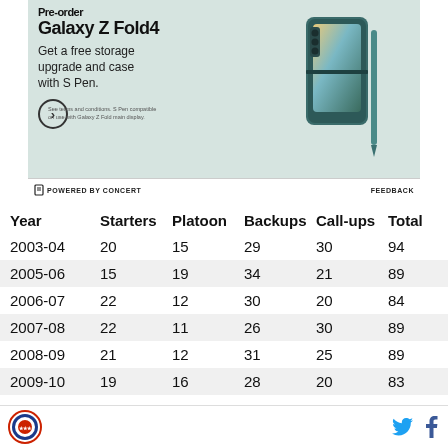[Figure (illustration): Samsung Galaxy Z Fold4 pre-order advertisement. Shows the phone folded and unfolded in teal color with S Pen. Text: Pre-order Galaxy Z Fold4. Get a free storage upgrade and case with S Pen.]
POWERED BY CONCERT   FEEDBACK
| Year | Starters | Platoon | Backups | Call-ups | Total |
| --- | --- | --- | --- | --- | --- |
| 2003-04 | 20 | 15 | 29 | 30 | 94 |
| 2005-06 | 15 | 19 | 34 | 21 | 89 |
| 2006-07 | 22 | 12 | 30 | 20 | 84 |
| 2007-08 | 22 | 11 | 26 | 30 | 89 |
| 2008-09 | 21 | 12 | 31 | 25 | 89 |
| 2009-10 | 19 | 16 | 28 | 20 | 83 |
[Figure (logo): Circular sports logo at bottom left]
[Figure (logo): Twitter bird icon and Facebook f icon at bottom right]